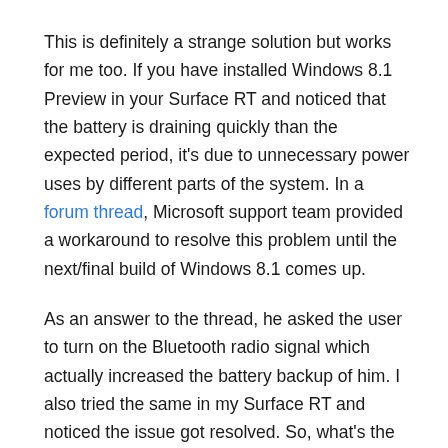This is definitely a strange solution but works for me too. If you have installed Windows 8.1 Preview in your Surface RT and noticed that the battery is draining quickly than the expected period, it's due to unnecessary power uses by different parts of the system. In a forum thread, Microsoft support team provided a workaround to resolve this problem until the next/final build of Windows 8.1 comes up.
As an answer to the thread, he asked the user to turn on the Bluetooth radio signal which actually increased the battery backup of him. I also tried the same in my Surface RT and noticed the issue got resolved. So, what's the reason behind this? In general, keeping the Bluetooth signal on should eat more battery but in this case it's different. Let's read the